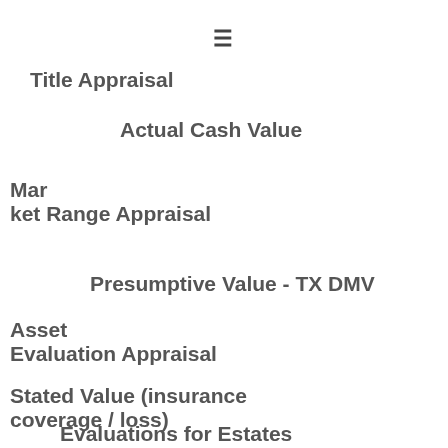Title Appraisal
Actual Cash Value
Market Range Appraisal
Presumptive Value - TX DMV
Asset Evaluation Appraisal
Stated Value (insurance coverage / loss)
Evaluations for Estates